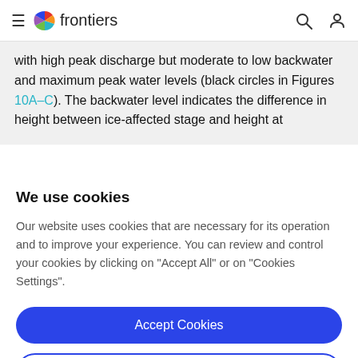frontiers
with high peak discharge but moderate to low backwater and maximum peak water levels (black circles in Figures 10A–C). The backwater level indicates the difference in height between ice-affected stage and height at
We use cookies
Our website uses cookies that are necessary for its operation and to improve your experience. You can review and control your cookies by clicking on "Accept All" or on "Cookies Settings".
Accept Cookies
Cookies Settings